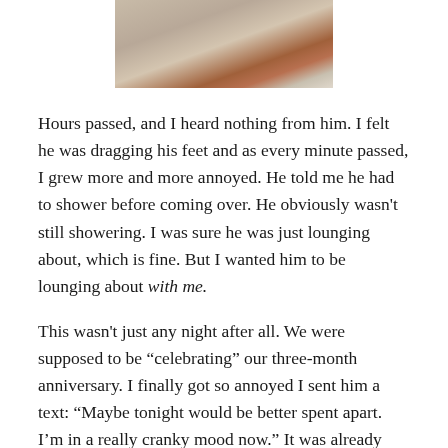[Figure (photo): Close-up photo of fabric or bedding with a reddish-orange accent, soft focus, neutral beige tones]
Hours passed, and I heard nothing from him. I felt he was dragging his feet and as every minute passed, I grew more and more annoyed. He told me he had to shower before coming over. He obviously wasn't still showering. I was sure he was just lounging about, which is fine. But I wanted him to be lounging about with me.
This wasn't just any night after all. We were supposed to be “celebrating” our three-month anniversary. I finally got so annoyed I sent him a text: “Maybe tonight would be better spent apart. I’m in a really cranky mood now.” It was already past 10:00. At this point he was coming over to sleep and not much else. He called and told me he was